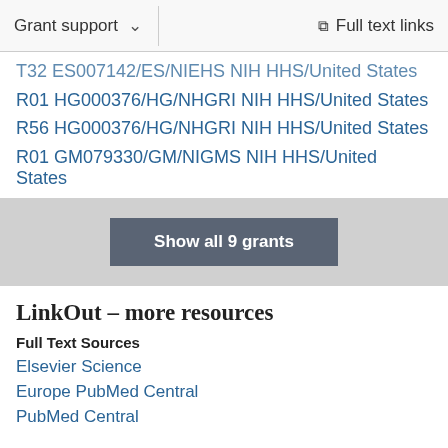Grant support | Full text links
T32 ES007142/ES/NIEHS NIH HHS/United States
R01 HG000376/HG/NHGRI NIH HHS/United States
R56 HG000376/HG/NHGRI NIH HHS/United States
R01 GM079330/GM/NIGMS NIH HHS/United States
Show all 9 grants
LinkOut – more resources
Full Text Sources
Elsevier Science
Europe PubMed Central
PubMed Central